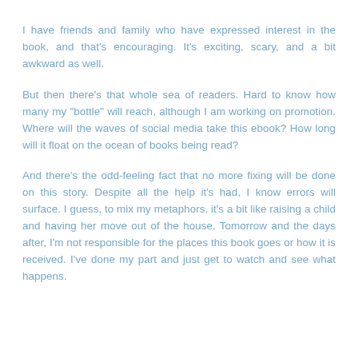I have friends and family who have expressed interest in the book, and that's encouraging. It's exciting, scary, and a bit awkward as well.
But then there's that whole sea of readers. Hard to know how many my "bottle" will reach, although I am working on promotion. Where will the waves of social media take this ebook? How long will it float on the ocean of books being read?
And there's the odd-feeling fact that no more fixing will be done on this story. Despite all the help it's had, I know errors will surface. I guess, to mix my metaphors, it's a bit like raising a child and having her move out of the house. Tomorrow and the days after, I'm not responsible for the places this book goes or how it is received. I've done my part and just get to watch and see what happens.